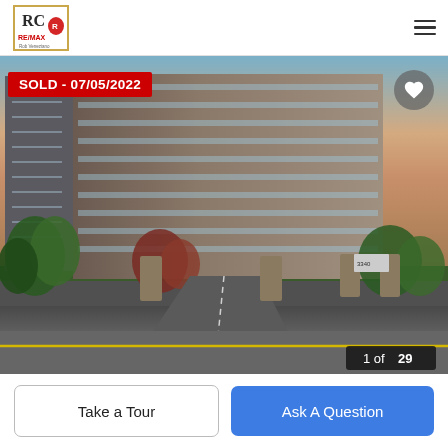[Figure (logo): RC RE/MAX real estate logo in top left header]
[Figure (photo): Exterior photo of a tall multi-story brick apartment/condo building at dusk with trees and entry road, labeled '1 of 29'. SOLD badge dated 07/05/2022 in top left, heart/favorite icon top right.]
SOLD - 07/05/2022
1 of 29
Take a Tour
Ask A Question